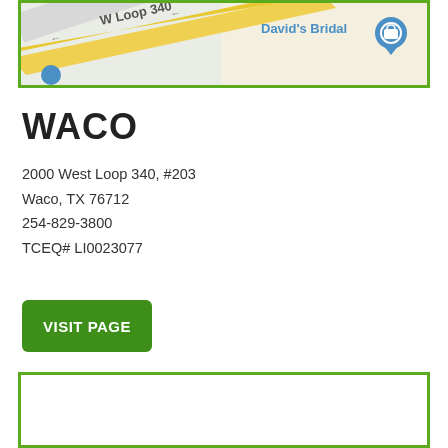[Figure (map): Street map showing W Loop 340 with a yellow road and David's Bridal location marker in blue]
WACO
2000 West Loop 340, #203
Waco, TX 76712
254-829-3800
TCEQ# LI0023077
VISIT PAGE
[Figure (map): Street map (bottom, partially visible, white background with green border)]